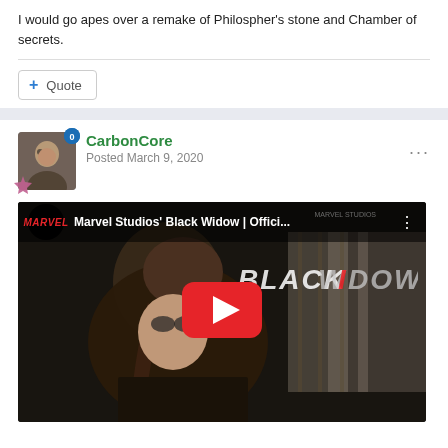I would go apes over a remake of Philospher's stone and Chamber of secrets.
+ Quote
CarbonCore
Posted March 9, 2020
[Figure (screenshot): YouTube video thumbnail for Marvel Studios' Black Widow Official trailer with play button overlay and Black Widow title logo]